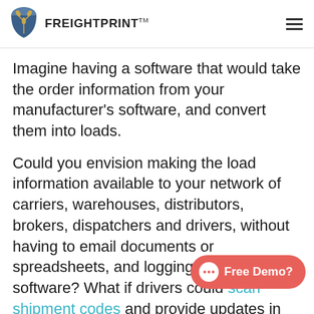FreightPrint™
Imagine having a software that would take the order information from your manufacturer's software, and convert them into loads.
Could you envision making the load information available to your network of carriers, warehouses, distributors, brokers, dispatchers and drivers, without having to email documents or spreadsheets, and logging into multiple software? What if drivers could scan shipment codes and provide updates in real time?